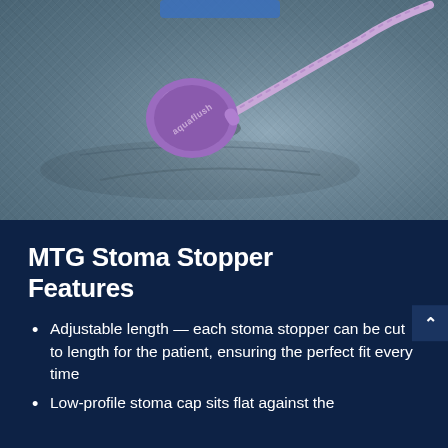[Figure (photo): Close-up photo of a purple/lavender MTG Aquaflush stoma stopper device with a round flat cap and flexible tube/string, resting on blue-grey fabric material.]
MTG Stoma Stopper Features
Adjustable length — each stoma stopper can be cut to length for the patient, ensuring the perfect fit every time
Low-profile stoma cap sits flat against the